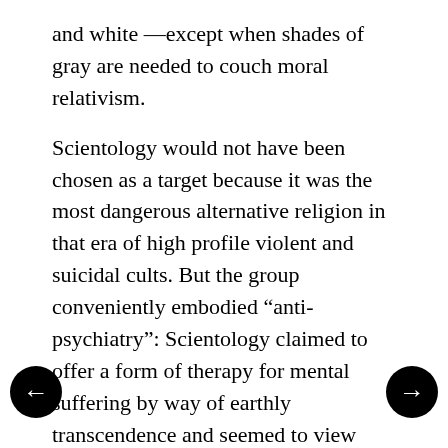and white —except when shades of gray are needed to couch moral relativism.
Scientology would not have been chosen as a target because it was the most dangerous alternative religion in that era of high profile violent and suicidal cults. But the group conveniently embodied “anti-psychiatry”: Scientology claimed to offer a form of therapy for mental suffering by way of earthly transcendence and seemed to view organized psychiatry as competition. Industry might also have noted that Scientology offered a drug-free reverse parallel for its own utopian marketing approach, promising the public a future paradise on earth free from disease, pain, suffering, violence and fear in exchange for uncritical faith in commercial science and